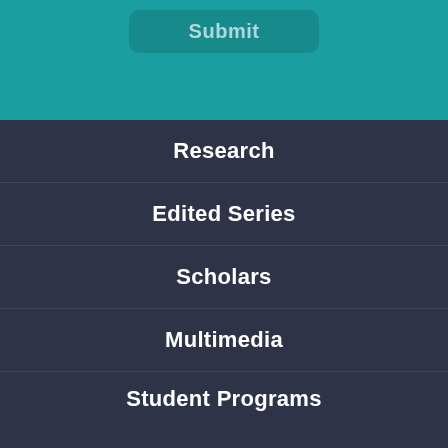[Figure (screenshot): Submit button on teal background]
Research
Edited Series
Scholars
Multimedia
Student Programs